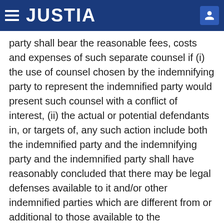JUSTIA
party shall bear the reasonable fees, costs and expenses of such separate counsel if (i) the use of counsel chosen by the indemnifying party to represent the indemnified party would present such counsel with a conflict of interest, (ii) the actual or potential defendants in, or targets of, any such action include both the indemnified party and the indemnifying party and the indemnified party shall have reasonably concluded that there may be legal defenses available to it and/or other indemnified parties which are different from or additional to those available to the indemnifying party, (iii) the indemnifying party shall not have employed counsel reasonably satisfactory to the indemnified party to represent the indemnified party within a reasonable time after notice of the